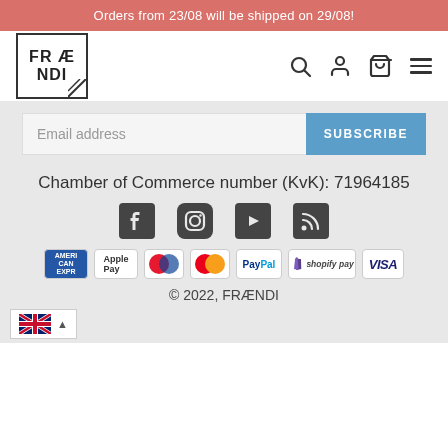Orders from 23/08 will be shipped on 29/08!
[Figure (logo): FRÆNDI logo in a bordered box]
[Figure (infographic): Header icons: search, account, cart, menu]
Email address
SUBSCRIBE
Chamber of Commerce number (KvK): 71964185
[Figure (infographic): Social media icons: Facebook, Instagram, YouTube, RSS]
[Figure (infographic): Payment method icons: American Express, Apple Pay, Maestro, Mastercard, PayPal, Shopify Pay, Visa]
© 2022, FRÆNDI
[Figure (infographic): UK flag language selector with caret]